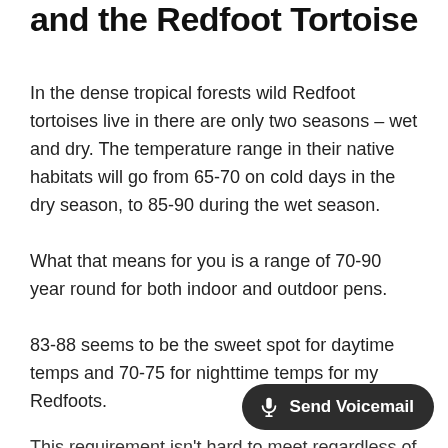and the Redfoot Tortoise
In the dense tropical forests wild Redfoot tortoises live in there are only two seasons – wet and dry. The temperature range in their native habitats will go from 65-70 on cold days in the dry season, to 85-90 during the wet season.
What that means for you is a range of 70-90 year round for both indoor and outdoor pens.
83-88 seems to be the sweet spot for daytime temps and 70-75 for nighttime temps for my Redfoots.
This requirement isn't hard to meet regardless of where you live, but it's still facto... when it comes to Redfoot Torto... pyramiding.